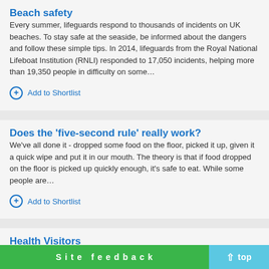Beach safety
Every summer, lifeguards respond to thousands of incidents on UK beaches. To stay safe at the seaside, be informed about the dangers and follow these simple tips. In 2014, lifeguards from the Royal National Lifeboat Institution (RNLI) responded to 17,050 incidents, helping more than 19,350 people in difficulty on some…
Add to Shortlist
Does the 'five-second rule' really work?
We've all done it - dropped some food on the floor, picked it up, given it a quick wipe and put it in our mouth. The theory is that if food dropped on the floor is picked up quickly enough, it's safe to eat. While some people are…
Add to Shortlist
Health Visitors
Health visitors are qualified nurses or midwives with specialist public health training. We are trained in child development and protecting children. We are available to support you in pregnancy… e your baby is born. We are also able to
Site feedback  top